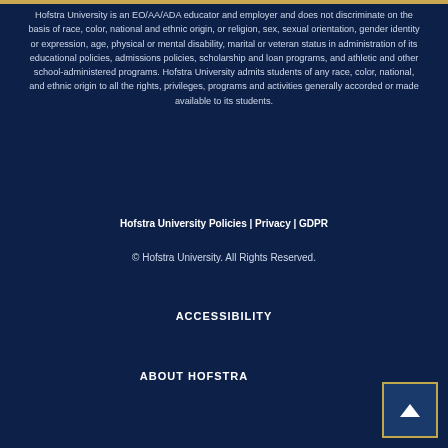Hofstra University is an EO/AA/ADA educator and employer and does not discriminate on the basis of race, color, national and ethnic origin, or religion, sex, sexual orientation, gender identity or expression, age, physical or mental disability, marital or veteran status in administration of its educational policies, admissions policies, scholarship and loan programs, and athletic and other school-administered programs. Hofstra University admits students of any race, color, national, and ethnic origin to all the rights, privileges, programs and activities generally accorded or made available to its students.
Hofstra University Policies | Privacy | GDPR
© Hofstra University. All Rights Reserved.
ACCESSIBILITY
ABOUT HOFSTRA